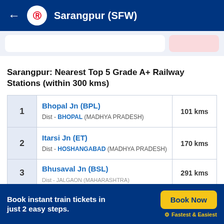Sarangpur (SFW)
Sarangpur: Nearest Top 5 Grade A+ Railway Stations (within 300 kms)
| # | Station | Distance |
| --- | --- | --- |
| 1 | Bhopal Jn (BPL)
Dist - BHOPAL (MADHYA PRADESH) | 101 kms |
| 2 | Itarsi Jn (ET)
Dist - HOSHANGABAD (MADHYA PRADESH) | 170 kms |
| 3 | Bhusaval Jn (BSL)
Dist - JALGAON (MAHARASHTRA) | 291 kms |
Book instant train tickets in just 2 easy steps.
Book Now
Fastest & Easiest